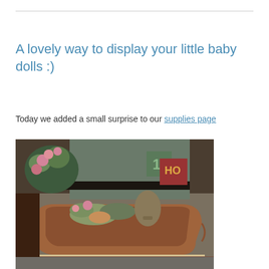A lovely way to display your little baby dolls :)
Today we added a small surprise to our supplies page
[Figure (photo): A wooden baby doll cradle/crib with decorative items inside including flowers and small accessories, placed on a patterned rug with alphabet blocks and a patterned backdrop in the background.]
[Figure (photo): Bottom portion of another photo partially visible at page bottom.]